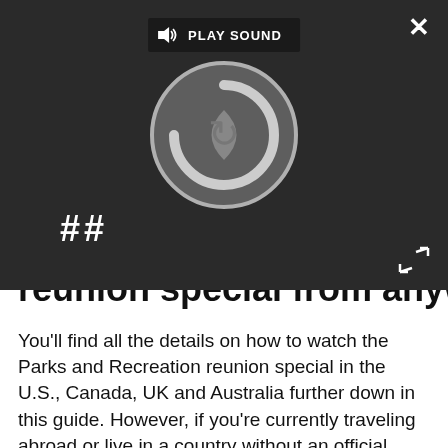[Figure (screenshot): Video player overlay on dark background showing a play sound button, spinning loading circle, pause button (||), close (X) button, and expand arrows icon.]
reunion special from anywhere
You'll find all the details on how to watch the Parks and Recreation reunion special in the U.S., Canada, UK and Australia further down in this guide. However, if you're currently traveling abroad or live in a country without an official broadcast option you won't be able to watch it.That's where a VPN (Virtual Private Network) can really come in handy. They allow you to virtually change the IP address of your laptop, tablet or mobile to one that's back in your home country which will let you watch as if you were back there.